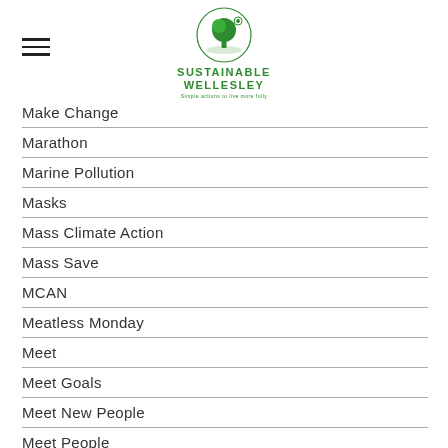[Figure (logo): Sustainable Wellesley logo with tree icon and tagline]
Make Change
Marathon
Marine Pollution
Masks
Mass Climate Action
Mass Save
MCAN
Meatless Monday
Meet
Meet Goals
Meet New People
Meet People
Mindy Domb
Mini
Mobility